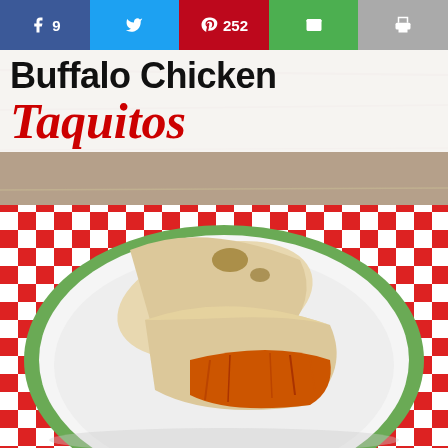[Figure (infographic): Social share bar with Facebook (f 9), Twitter (bird icon), Pinterest (P 252), Email (envelope icon), Print (printer icon) buttons across the top]
[Figure (photo): Photo of Buffalo Chicken Taquitos on a white plate, placed on a red-and-white checkered paper liner on a green plate, on a wooden table. Two taquitos are visible, one showing shredded orange buffalo chicken filling. Title overlay reads 'Buffalo Chicken Taquitos' in black bold and red italic script.]